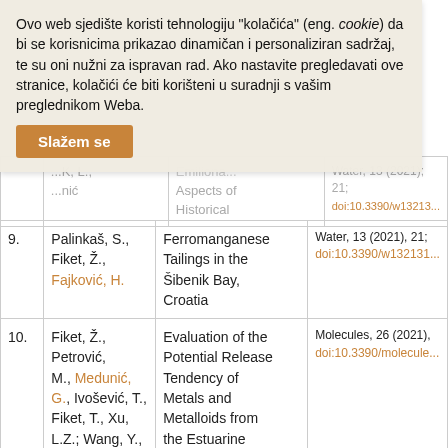Ovo web sjedište koristi tehnologiju "kolačića" (eng. cookie) da bi se korisnicima prikazao dinamičan i personaliziran sadržaj, te su oni nužni za ispravan rad. Ako nastavite pregledavati ove stranice, kolačići će biti korišteni u suradnji s vašim preglednikom Weba.
Slažem se
| # | Authors | Title | Journal |
| --- | --- | --- | --- |
| 9. | Palinkaš, S., Fiket, Ž., Fajković, H. | Ferromanganese Tailings in the Šibenik Bay, Croatia | Water, 13 (2021), 21; doi:10.3390/w13213... |
| 10. | Fiket, Ž., Petrović, M., Medunić, G., Ivošević, T., Fiket, T., Xu, L.Z.; Wang, Y., Ding, S. | Evaluation of the Potential Release Tendency of Metals and Metalloids from the Estuarine Sediments: Case Study of Raša Bay | Molecules, 26 (2021), ; doi:10.3390/molecule... |
| 11. | Razum, J. | New sediment provenance |  |